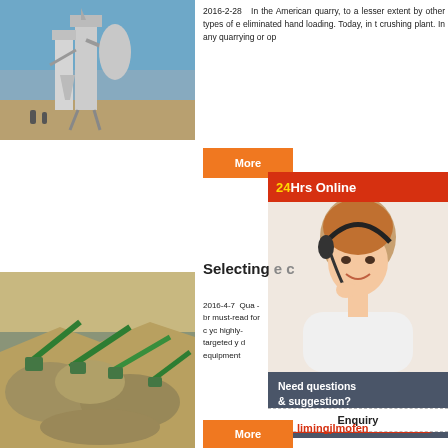[Figure (photo): Industrial quarry crushing machinery with silos and pipes, blue sky background]
2016-2-28  In the American quarry, to a lesser extent by other types of e eliminated hand loading. Today, in t crushing plant. In any quarrying or op
More
24Hrs Online
[Figure (photo): Customer service representative woman smiling wearing headset]
Selecting e c
2016-4-7  Qua -br must-read for c yc highly-targeted y d equipment
Need questions & suggestion?
Chat Now
Enquiry
More
limingjlmofen
[Figure (photo): Quarry aggregate processing site with green conveyor belts and machinery]